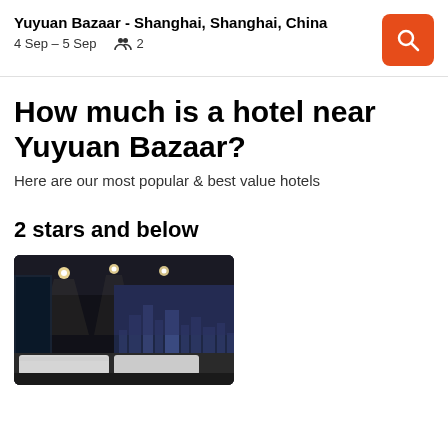Yuyuan Bazaar - Shanghai, Shanghai, China
4 Sep – 5 Sep  👥 2
How much is a hotel near Yuyuan Bazaar?
Here are our most popular & best value hotels
2 stars and below
[Figure (photo): Interior photo of a hotel room with dark ambient lighting, ceiling spotlights, large windows on the left, and a cityscape mural on the wall. Beds with white bedding visible in the foreground.]